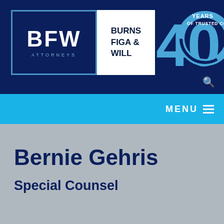[Figure (logo): BFW Burns Figa & Will Attorneys logo with 40 Years of Trusted Counsel badge]
MENU
Bernie Gehris
Special Counsel